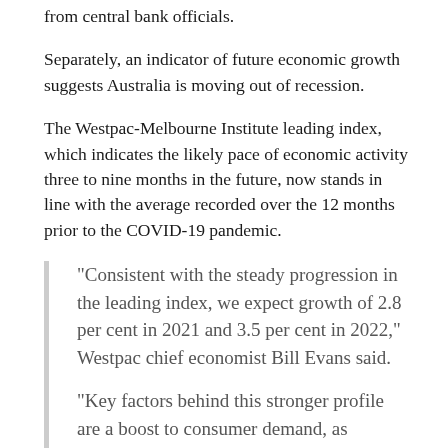from central bank officials.
Separately, an indicator of future economic growth suggests Australia is moving out of recession.
The Westpac-Melbourne Institute leading index, which indicates the likely pace of economic activity three to nine months in the future, now stands in line with the average recorded over the 12 months prior to the COVID-19 pandemic.
“Consistent with the steady progression in the leading index, we expect growth of 2.8 per cent in 2021 and 3.5 per cent in 2022,” Westpac chief economist Bill Evans said.
“Key factors behind this stronger profile are a boost to consumer demand, as households spend around 50 per cent of the personal